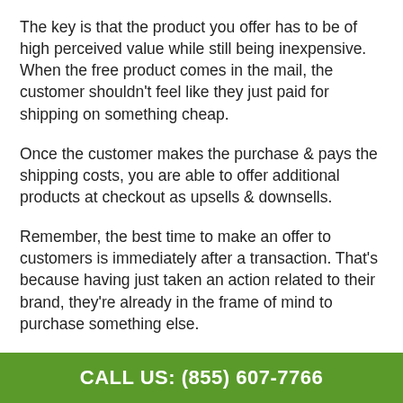The key is that the product you offer has to be of high perceived value while still being inexpensive. When the free product comes in the mail, the customer shouldn't feel like they just paid for shipping on something cheap.
Once the customer makes the purchase & pays the shipping costs, you are able to offer additional products at checkout as upsells & downsells.
Remember, the best time to make an offer to customers is immediately after a transaction. That's because having just taken an action related to their brand, they're already in the frame of mind to purchase something else.
Therefore, the best time to offer your free plus shipping is after someone opts in for a lead magnet of...
CALL US: (855) 607-7766